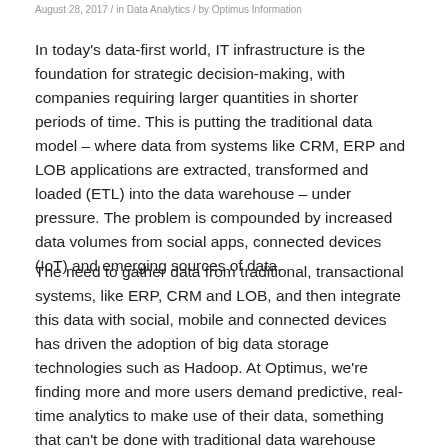August 28, 2017 / in Data Analytics / by Optimus Information
In today's data-first world, IT infrastructure is the foundation for strategic decision-making, with companies requiring larger quantities in shorter periods of time. This is putting the traditional data model – where data from systems like CRM, ERP and LOB applications are extracted, transformed and loaded (ETL) into the data warehouse – under pressure. The problem is compounded by increased data volumes from social apps, connected devices (IoT) and emerging sources of data.
The need to gather data from traditional, transactional systems, like ERP, CRM and LOB, and then integrate this data with social, mobile and connected devices has driven the adoption of big data storage technologies such as Hadoop. At Optimus, we're finding more and more users demand predictive, real-time analytics to make use of their data, something that can't be done with traditional data warehouse tools. Consequently, organizations are considering cloud-based solutions such as Azure to